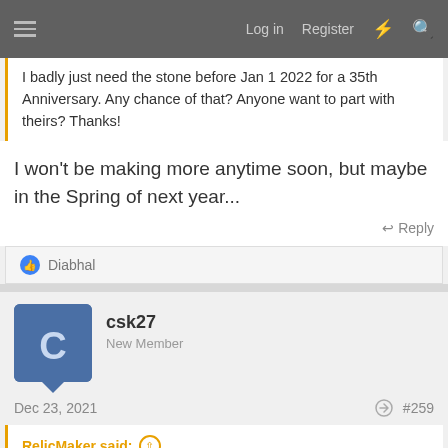Log in  Register
I badly just need the stone before Jan 1 2022 for a 35th Anniversary. Any chance of that? Anyone want to part with theirs? Thanks!
I won't be making more anytime soon, but maybe in the Spring of next year...
Reply
Diabhal
csk27
New Member
Dec 23, 2021    #259
RelicMaker said:
~ Romancing The Stone ~